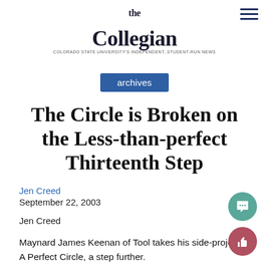the Collegian
archives
The Circle is Broken on the Less-than-perfect Thirteenth Step
Jen Creed
September 22, 2003
Jen Creed
Maynard James Keenan of Tool takes his side-project, A Perfect Circle, a step further.